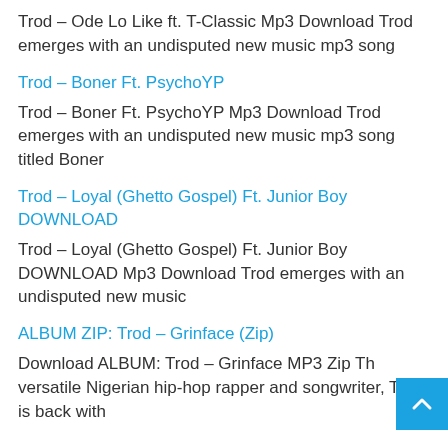Trod – Ode Lo Like ft. T-Classic Mp3 Download Trod emerges with an undisputed new music mp3 song
Trod – Boner Ft. PsychoYP
Trod – Boner Ft. PsychoYP Mp3 Download Trod emerges with an undisputed new music mp3 song titled Boner
Trod – Loyal (Ghetto Gospel) Ft. Junior Boy DOWNLOAD
Trod – Loyal (Ghetto Gospel) Ft. Junior Boy DOWNLOAD Mp3 Download Trod emerges with an undisputed new music
ALBUM ZIP: Trod – Grinface (Zip)
Download ALBUM: Trod – Grinface MP3 Zip The versatile Nigerian hip-hop rapper and songwriter, Trod is back with